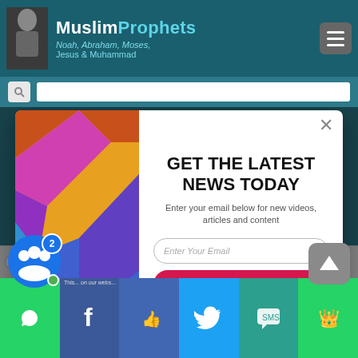MuslimProphets — Noah, Abraham, Moses, Jesus & Muhammad
[Figure (screenshot): Modal popup on MuslimProphets website with geometric colorful left panel and newsletter signup form on right]
GET THE LATEST NEWS TODAY
Enter your email below for new videos, articles and content
Enter Your Email
SUBSCRIBE NOW
No Thanks
MUHAMMAD   NO...   ...HAS   SAMUEL   S...   SUMO